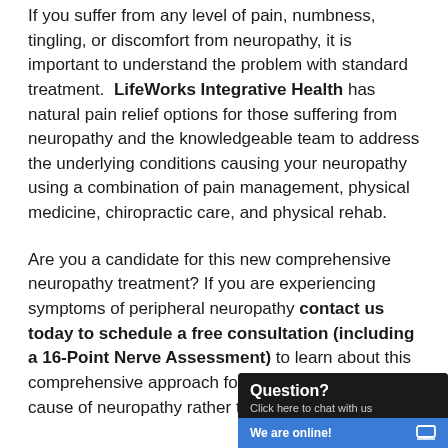If you suffer from any level of pain, numbness, tingling, or discomfort from neuropathy, it is important to understand the problem with standard treatment. LifeWorks Integrative Health has natural pain relief options for those suffering from neuropathy and the knowledgeable team to address the underlying conditions causing your neuropathy using a combination of pain management, physical medicine, chiropractic care, and physical rehab.

Are you a candidate for this new comprehensive neuropathy treatment? If you are experiencing symptoms of peripheral neuropathy contact us today to schedule a free consultation (including a 16-Point Nerve Assessment) to learn about this comprehensive approach for treating the root cause of neuropathy rather than the symptoms.
[Figure (screenshot): Chat widget overlay with dark background showing 'Question? Click here to chat with us' and a blue bar at bottom saying 'We are online!' with a window icon.]